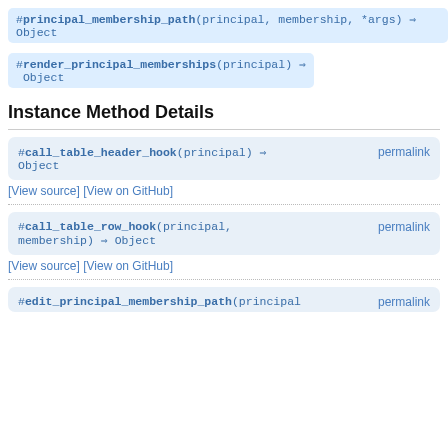#principal_membership_path(principal, membership, *args) ⇒ Object
#render_principal_memberships(principal) ⇒ Object
Instance Method Details
#call_table_header_hook(principal) ⇒ Object permalink
[View source] [View on GitHub]
#call_table_row_hook(principal, membership) ⇒ Object permalink
[View source] [View on GitHub]
#edit_principal_membership_path(principal permalink